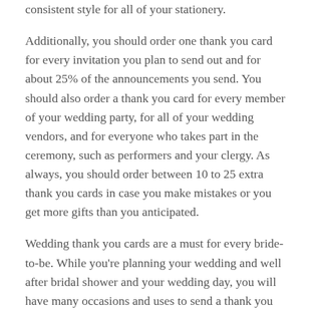consistent style for all of your stationery.
Additionally, you should order one thank you card for every invitation you plan to send out and for about 25% of the announcements you send. You should also order a thank you card for every member of your wedding party, for all of your wedding vendors, and for everyone who takes part in the ceremony, such as performers and your clergy. As always, you should order between 10 to 25 extra thank you cards in case you make mistakes or you get more gifts than you anticipated.
Wedding thank you cards are a must for every bride-to-be. While you're planning your wedding and well after bridal shower and your wedding day, you will have many occasions and uses to send a thank you note with special design and pattern from modern, classic, and traditional. Make sure you have a stash of notes on hand so you can always promptly send a quick thank-you. We have a wide variety of charming and unique wedding thank you cards to match with your wedding invitations.